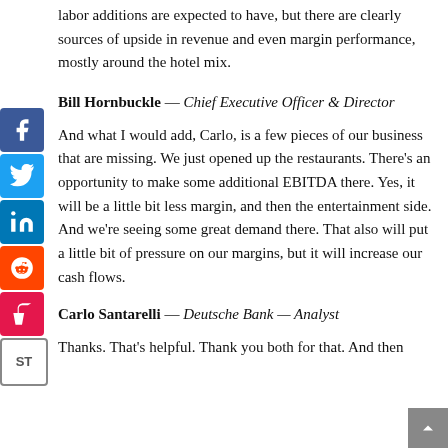labor additions are expected to have, but there are clearly sources of upside in revenue and even margin performance, mostly around the hotel mix.
Bill Hornbuckle — Chief Executive Officer & Director
And what I would add, Carlo, is a few pieces of our business that are missing. We just opened up the restaurants. There's an opportunity to make some additional EBITDA there. Yes, it will be a little bit less margin, and then the entertainment side. And we're seeing some great demand there. That also will put a little bit of pressure on our margins, but it will increase our cash flows.
Carlo Santarelli — Deutsche Bank — Analyst
Thanks. That's helpful. Thank you both for that. And then